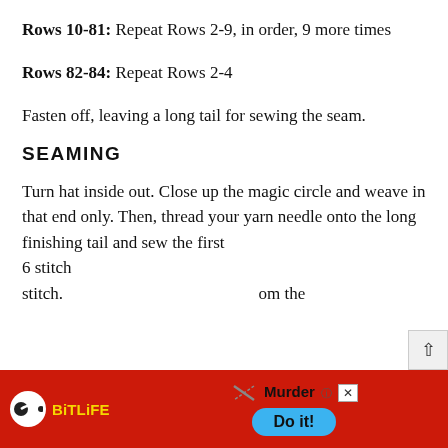Rows 10-81: Repeat Rows 2-9, in order, 9 more times
Rows 82-84: Repeat Rows 2-4
Fasten off, leaving a long tail for sewing the seam.
SEAMING
Turn hat inside out. Close up the magic circle and weave in that end only. Then, thread your yarn needle onto the long finishing tail and sew the first 6 stitch... stitch. ...om the
[Figure (screenshot): BitLife advertisement overlay at bottom of page showing red background, BitLife logo with yellow text, 'Murder Do it!' call to action button in blue, and a close/X button]